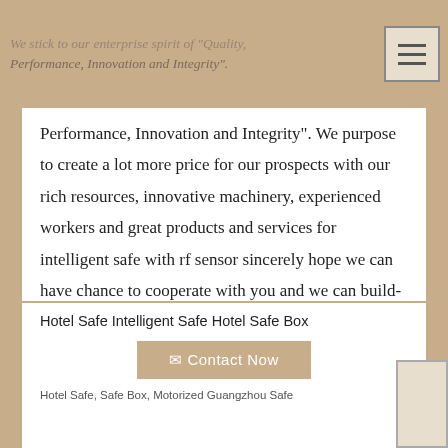We stick to our enterprise spirit of "Quality, Performance, Innovation and Integrity".
We stick to our enterprise spirit of "Quality, Performance, Innovation and Integrity". We purpose to create a lot more price for our prospects with our rich resources, innovative machinery, experienced workers and great products and services for intelligent safe with rf sensor sincerely hope we can have chance to cooperate with you and we can build-up prolonged perfectly organization connection along with you.
Hotel Safe Intelligent Safe Hotel Safe Box
Contact Now
Hotel Safe, Safe Box, Motorized  Guangzhou Safe